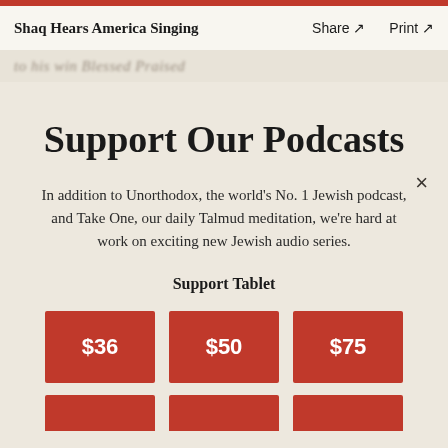Shaq Hears America Singing   Share ↗   Print ↗
to his win Blessed Praised
Support Our Podcasts
In addition to Unorthodox, the world's No. 1 Jewish podcast, and Take One, our daily Talmud meditation, we're hard at work on exciting new Jewish audio series.
Support Tablet
[Figure (other): Three red donation buttons labeled $36, $50, $75 and a partial row of three more red buttons below]
$36
$50
$75